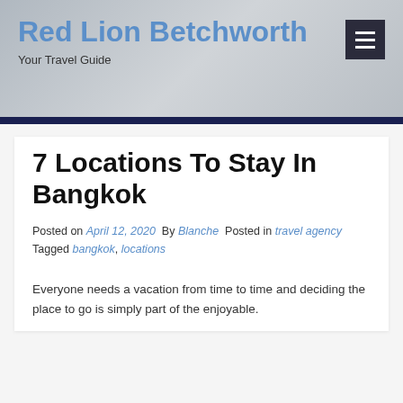Red Lion Betchworth — Your Travel Guide
7 Locations To Stay In Bangkok
Posted on April 12, 2020 By Blanche Posted in travel agency Tagged bangkok, locations
Everyone needs a vacation from time to time and deciding the place to go is simply part of the enjoyable.